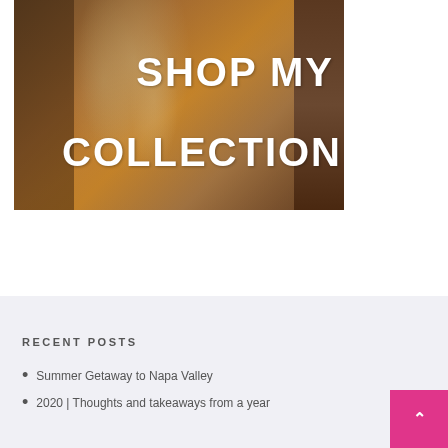[Figure (photo): Woman with blonde wavy hair wearing an orange/rust satin dress, with overlaid bold white text reading 'SHOP MY COLLECTION']
RECENT POSTS
Summer Getaway to Napa Valley
2020 | Thoughts and takeaways from a year